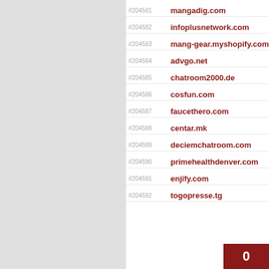#204581 mangadig.com
#204582 infoplusnetwork.com
#204583 mang-gear.myshopify.com
#204584 advgo.net
#204585 chatroom2000.de
#204586 cosfun.com
#204587 faucethero.com
#204588 centar.mk
#204589 deciemchatroom.com
#204590 primehealthdenver.com
#204591 enjify.com
#204592 togopresse.tg